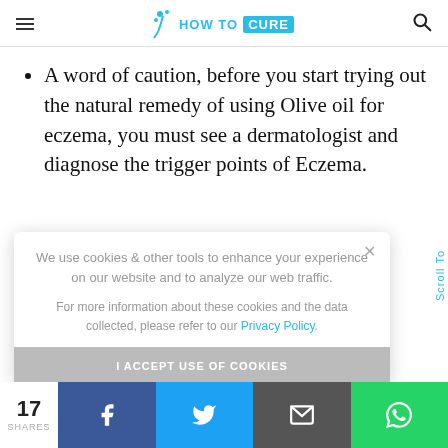HOW TO CURE
A word of caution, before you start trying out the natural remedy of using Olive oil for eczema, you must see a dermatologist and diagnose the trigger points of Eczema.
ve oil(2), you nprocessed While there you must try product
We use cookies & other tools to enhance your experience on our website and to analyze our web traffic. For more information about these cookies and the data collected, please refer to our Privacy Policy.
I ACCEPT USE OF COOKIES
Scroll To
17 SHARES